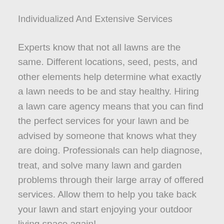Individualized And Extensive Services
Experts know that not all lawns are the same. Different locations, seed, pests, and other elements help determine what exactly a lawn needs to be and stay healthy. Hiring a lawn care agency means that you can find the perfect services for your lawn and be advised by someone that knows what they are doing. Professionals can help diagnose, treat, and solve many lawn and garden problems through their large array of offered services. Allow them to help you take back your lawn and start enjoying your outdoor living space again!